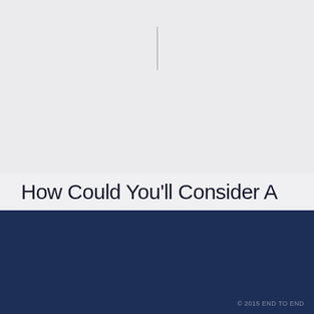[Figure (other): Light gray background area with a thin vertical cursor/caret line near the top center]
How Could You’ll Consider A
Menú
[Figure (logo): Circular logo icon (white outline circle with partial fill) next to Make IT Real text on dark navy background]
© 2015 END TO END